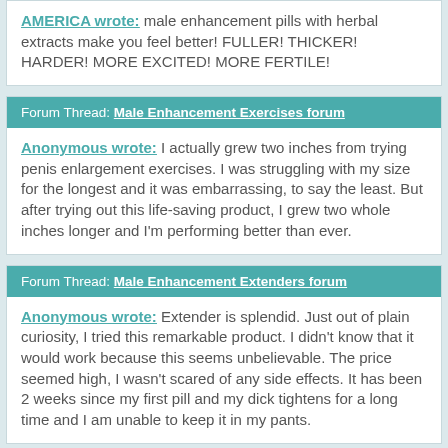AMERICA wrote: male enhancement pills with herbal extracts make you feel better! FULLER! THICKER! HARDER! MORE EXCITED! MORE FERTILE!
Forum Thread: Male Enhancement Exercises forum
Anonymous wrote: I actually grew two inches from trying penis enlargement exercises. I was struggling with my size for the longest and it was embarrassing, to say the least. But after trying out this life-saving product, I grew two whole inches longer and I'm performing better than ever.
Forum Thread: Male Enhancement Extenders forum
Anonymous wrote: Extender is splendid. Just out of plain curiosity, I tried this remarkable product. I didn't know that it would work because this seems unbelievable. The price seemed high, I wasn't scared of any side effects. It has been 2 weeks since my first pill and my dick tightens for a long time and I am unable to keep it in my pants.